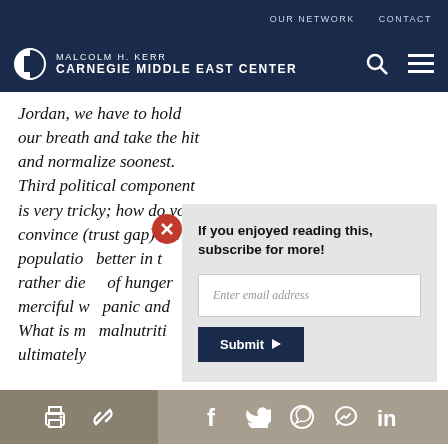OUR NETWORK   CONTACT
[Figure (logo): Malcolm H. Kerr Carnegie Middle East Center logo with search and menu icons]
Jordan, we have to hold our breath and take the hit and normalize soonest. Third political component is very tricky; how do you convince (trust gap) the population that things are better in the long run rather die of hunger merciful w panic and What is m malnutriti ultimately
If you enjoyed reading this, subscribe for more!
Enter email address
Submit